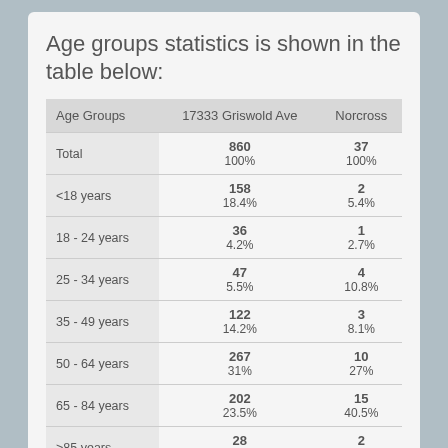Age groups statistics is shown in the table below:
| Age Groups | 17333 Griswold Ave | Norcross |
| --- | --- | --- |
| Total | 860
100% | 37
100% |
| <18 years | 158
18.4% | 2
5.4% |
| 18 - 24 years | 36
4.2% | 1
2.7% |
| 25 - 34 years | 47
5.5% | 4
10.8% |
| 35 - 49 years | 122
14.2% | 3
8.1% |
| 50 - 64 years | 267
31% | 10
27% |
| 65 - 84 years | 202
23.5% | 15
40.5% |
| >85 years | 28
3.3% | 2
5.4% |